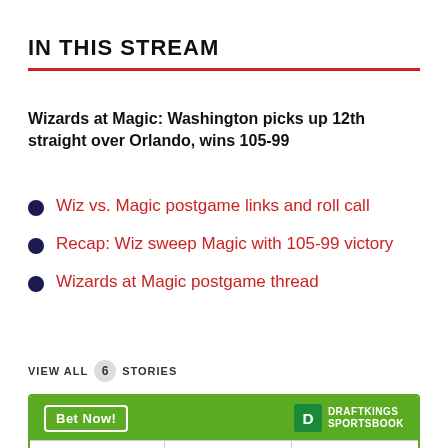IN THIS STREAM
Wizards at Magic: Washington picks up 12th straight over Orlando, wins 105-99
Wiz vs. Magic postgame links and roll call
Recap: Wiz sweep Magic with 105-99 victory
Wizards at Magic postgame thread
VIEW ALL 6 STORIES
|  | WAS | IND |
| --- | --- | --- |
| 10/19, 11:00p | WAS | IND |
| SPREAD | -2  (-110) | +2  (-110) |